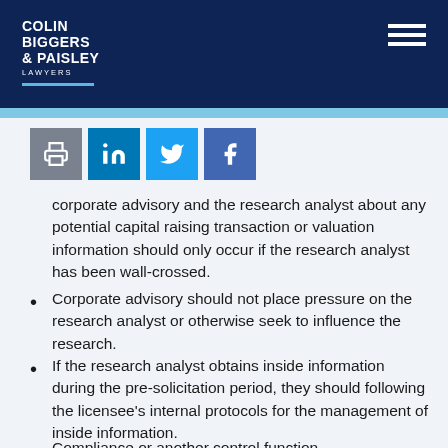COLIN BIGGERS & PAISLEY LAWYERS
[Figure (other): Social sharing icons: print, LinkedIn, Twitter, Facebook]
corporate advisory and the research analyst about any potential capital raising transaction or valuation information should only occur if the research analyst has been wall-crossed.
Corporate advisory should not place pressure on the research analyst or otherwise seek to influence the research.
If the research analyst obtains inside information during the pre-solicitation period, they should following the licensee's internal protocols for the management of inside information.
Compliance or another control function